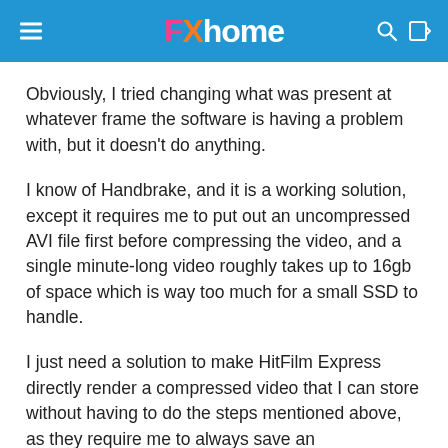FXhome
Obviously, I tried changing what was present at whatever frame the software is having a problem with, but it doesn't do anything.
I know of Handbrake, and it is a working solution, except it requires me to put out an uncompressed AVI file first before compressing the video, and a single minute-long video roughly takes up to 16gb of space which is way too much for a small SSD to handle.
I just need a solution to make HitFilm Express directly render a compressed video that I can store without having to do the steps mentioned above, as they require me to always save an unreasonable amount space on my SSD.
One solution I thought of was to install the K-Lite Codec Pack, but I have no idea how to make it work with HitFilm